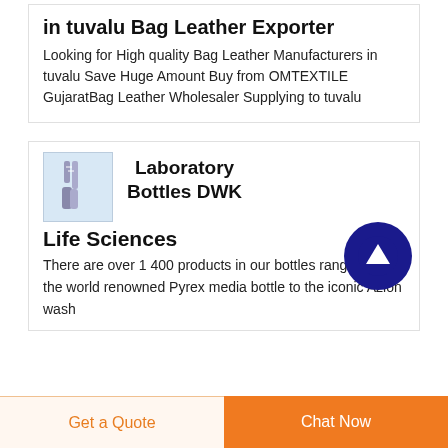in tuvalu Bag Leather Exporter
Looking for High quality Bag Leather Manufacturers in tuvalu Save Huge Amount Buy from OMTEXTILE GujaratBag Leather Wholesaler Supplying to tuvalu
[Figure (photo): Small image of laboratory bottles/glassware]
Laboratory Bottles DWK Life Sciences
There are over 1 400 products in our bottles range From the world renowned Pyrex media bottle to the iconic Azlon wash
[Figure (other): Dark blue circular FAB button with white upward arrow]
Get a Quote   Chat Now